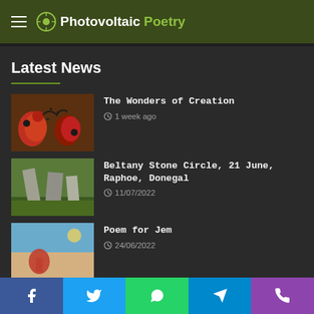Photovoltaic Poetry
Latest News
[Figure (photo): Colorful indigenous folk art depicting stylized roosters/birds with decorative patterns in red, black and brown]
The Wonders of Creation
1 week ago
[Figure (photo): Standing stones at Beltany Stone Circle with green grass and trees in background]
Beltany Stone Circle, 21 June, Raphoe, Donegal
11/07/2022
[Figure (photo): Person on a beach with blue ocean and sky, coastal landscape]
Poem for Jem
24/06/2022
[Figure (photo): Australian Way text overlay on image with environmental/nature scene]
The Australian Way – of allowing environmental destruction
Facebook Twitter WhatsApp Telegram Phone